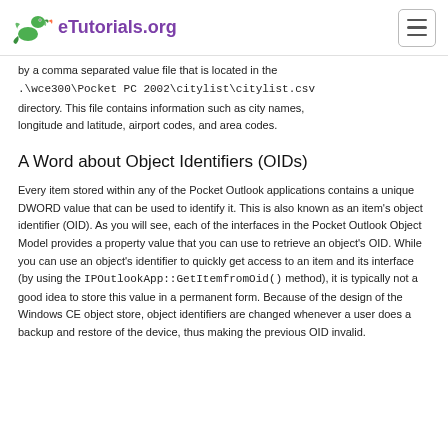eTutorials.org
by a comma separated value file that is located in the .\wce300\Pocket PC 2002\citylist\citylist.csv directory. This file contains information such as city names, longitude and latitude, airport codes, and area codes.
A Word about Object Identifiers (OIDs)
Every item stored within any of the Pocket Outlook applications contains a unique DWORD value that can be used to identify it. This is also known as an item's object identifier (OID). As you will see, each of the interfaces in the Pocket Outlook Object Model provides a property value that you can use to retrieve an object's OID. While you can use an object's identifier to quickly get access to an item and its interface (by using the IPOutlookApp::GetItemfromOid() method), it is typically not a good idea to store this value in a permanent form. Because of the design of the Windows CE object store, object identifiers are changed whenever a user does a backup and restore of the device, thus making the previous OID invalid.